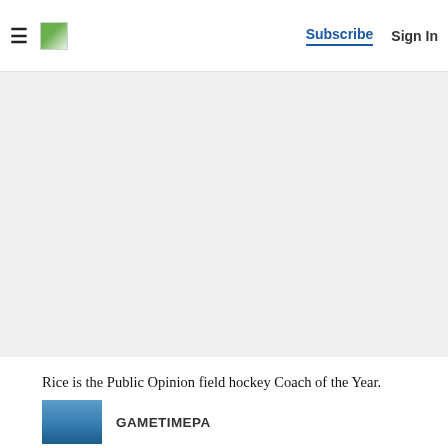Subscribe  Sign In
[Figure (photo): Gray advertisement placeholder area]
Rice is the Public Opinion field hockey Coach of the Year.
[Figure (photo): Small thumbnail photo of field hockey players]
GAMETIMEPA